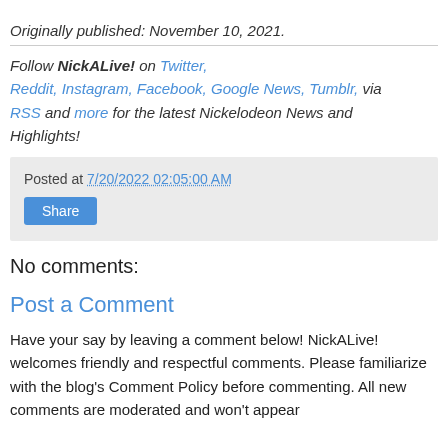Originally published: November 10, 2021.
Follow NickALive! on Twitter, Reddit, Instagram, Facebook, Google News, Tumblr, via RSS and more for the latest Nickelodeon News and Highlights!
Posted at 7/20/2022 02:05:00 AM
Share
No comments:
Post a Comment
Have your say by leaving a comment below! NickALive! welcomes friendly and respectful comments. Please familiarize with the blog's Comment Policy before commenting. All new comments are moderated and won't appear